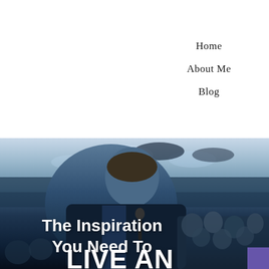Home
About Me
Blog
[Figure (photo): A man in a dark suit speaking or presenting at a conference/event, viewed from the side, with an audience visible in the background. The image has a blue-tinted, dramatic atmosphere. Text overlay reads: 'The Inspiration You Need To LIVE AN EXTRAORDINARY...']
The Inspiration You Need To
LIVE AN
EXTRAORDINARY...